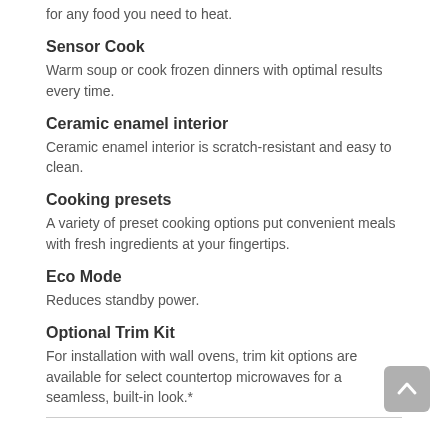Warm a hot drink or 100 large dishes with plenty of room for any food you need to heat.
Sensor Cook
Warm soup or cook frozen dinners with optimal results every time.
Ceramic enamel interior
Ceramic enamel interior is scratch-resistant and easy to clean.
Cooking presets
A variety of preset cooking options put convenient meals with fresh ingredients at your fingertips.
Eco Mode
Reduces standby power.
Optional Trim Kit
For installation with wall ovens, trim kit options are available for select countertop microwaves for a seamless, built-in look.*